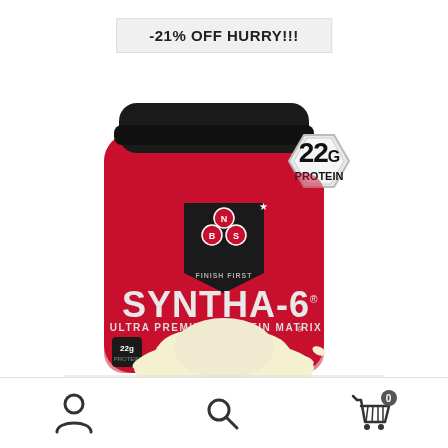-21% OFF HURRY!!!
[Figure (photo): BSN SYNTHA-6 Ultra Premium Protein Matrix red container with black lid, showing 22g protein badge on side and vanilla ice cream imagery on the label]
User profile icon | Search icon | Shopping cart icon with badge showing 0